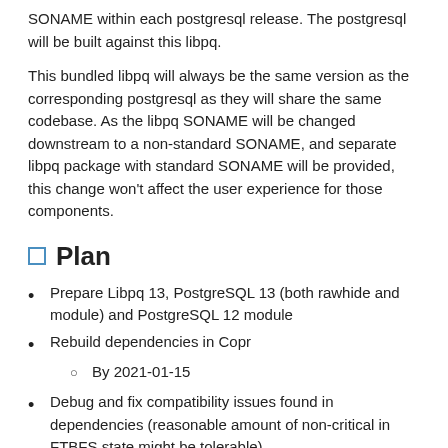SONAME within each postgresql release. The postgresql will be built against this libpq.
This bundled libpq will always be the same version as the corresponding postgresql as they will share the same codebase. As the libpq SONAME will be changed downstream to a non-standard SONAME, and separate libpq package with standard SONAME will be provided, this change won't affect the user experience for those components.
Plan
Prepare Libpq 13, PostgreSQL 13 (both rawhide and module) and PostgreSQL 12 module
Rebuild dependencies in Copr
By 2021-01-15
Debug and fix compatibility issues found in dependencies (reasonable amount of non-critical in FTBFS state might be tolerable)
By 2021-01-22
Prepare builds in a side tag